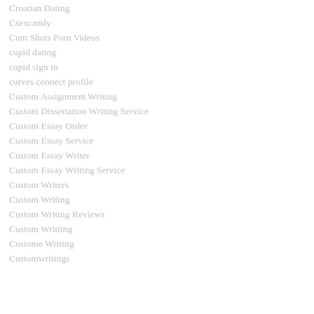Croatian Dating
Csexcamly
Cum Shots Porn Videos
cupid dating
cupid sign in
curves connect profile
Custom Assignment Writing
Custom Dissertation Writing Service
Custom Essay Order
Custom Essay Service
Custom Essay Writer
Custom Essay Writing Service
Custom Writers
Custom Writing
Custom Writing Reviews
Custom Writting
Custome Writing
Customwritings